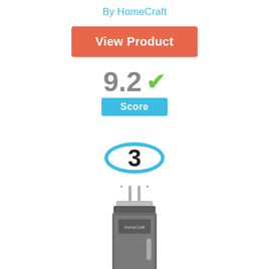By HomeCraft
View Product
9.2 ✓
Score
3
[Figure (photo): Kegerator / beer dispenser appliance product image, stainless steel with tap handles on top]